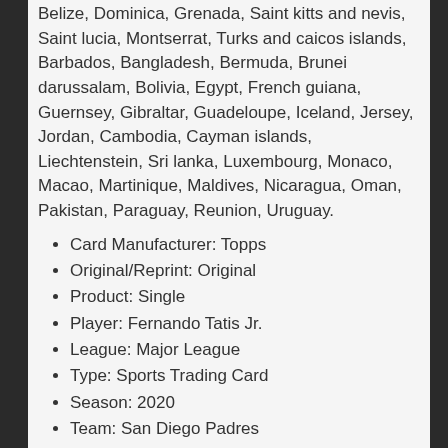Belize, Dominica, Grenada, Saint kitts and nevis, Saint lucia, Montserrat, Turks and caicos islands, Barbados, Bangladesh, Bermuda, Brunei darussalam, Bolivia, Egypt, French guiana, Guernsey, Gibraltar, Guadeloupe, Iceland, Jersey, Jordan, Cambodia, Cayman islands, Liechtenstein, Sri lanka, Luxembourg, Monaco, Macao, Martinique, Maldives, Nicaragua, Oman, Pakistan, Paraguay, Reunion, Uruguay.
Card Manufacturer: Topps
Original/Reprint: Original
Product: Single
Player: Fernando Tatis Jr.
League: Major League
Type: Sports Trading Card
Season: 2020
Team: San Diego Padres
Year: 2020
Professional Grader: Not Professionally Graded
Grade: Ungraded
Era: Modern (1981-Now)